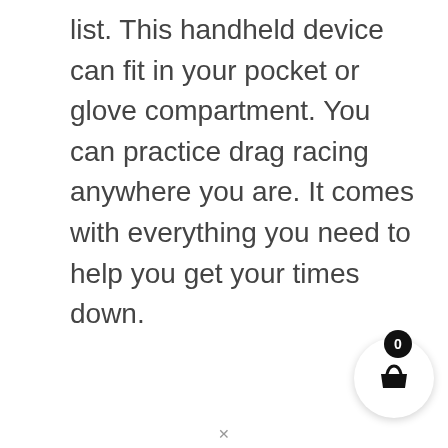list. This handheld device can fit in your pocket or glove compartment. You can practice drag racing anywhere you are. It comes with everything you need to help you get your times down.
[Figure (other): Shopping cart button with badge showing count 0, circular white button with basket icon and black notification badge]